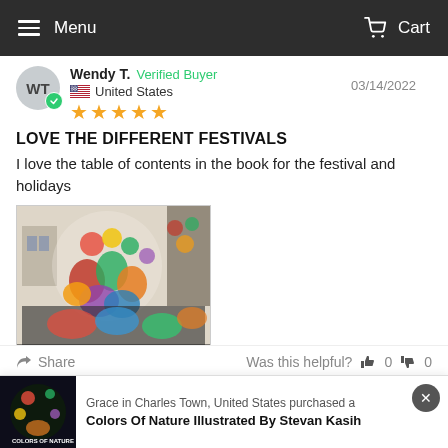Menu   Cart
Wendy T.  Verified Buyer  03/14/2022  United States  ★★★★★
LOVE THE DIFFERENT FESTIVALS
I love the table of contents in the book for the festival and holidays
[Figure (photo): Photo of a colorful festival coloring book page, partially colored with vivid colors including reds, greens, yellows, showing carnival/festival figures and scenery]
Share   Was this helpful?  👍 0  👎 0
Grace in Charles Town, United States purchased a
Colors Of Nature Illustrated By Stevan Kasih